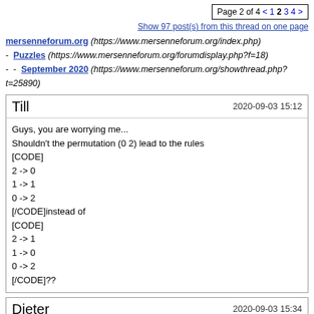Page 2 of 4 < 1 2 3 4 >
Show 97 post(s) from this thread on one page
mersenneforum.org (https://www.mersenneforum.org/index.php)
- Puzzles (https://www.mersenneforum.org/forumdisplay.php?f=18)
- - September 2020 (https://www.mersenneforum.org/showthread.php?t=25890)
Till   2020-09-03 15:12
Guys, you are worrying me...
Shouldn't the permutation (0 2) lead to the rules
[CODE]
2 -> 0
1 -> 1
0 -> 2
[/CODE]instead of
[CODE]
2 -> 1
1 -> 0
0 -> 2
[/CODE]??
Dieter   2020-09-03 15:34
[QUOTE=Till;555885]Guys, you are worrying me...
Shouldn't the permutation (0 2) lead to the rules